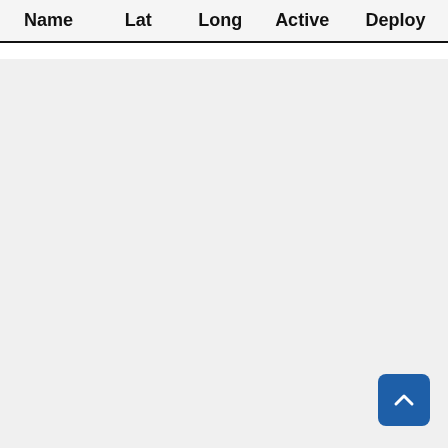| Name | Lat | Long | Active | Deploy |
| --- | --- | --- | --- | --- |